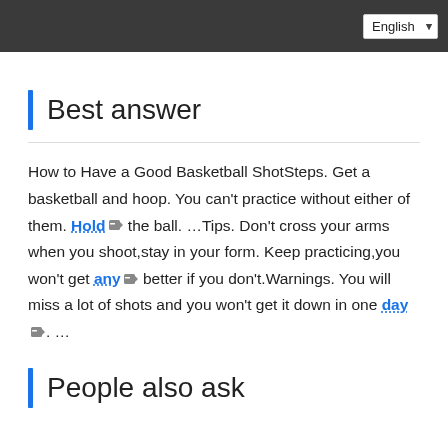English
Best answer
How to Have a Good Basketball ShotSteps. Get a basketball and hoop. You can't practice without either of them. Hold the ball. …Tips. Don't cross your arms when you shoot,stay in your form. Keep practicing,you won't get any better if you don't.Warnings. You will miss a lot of shots and you won't get it down in one day. …
People also ask